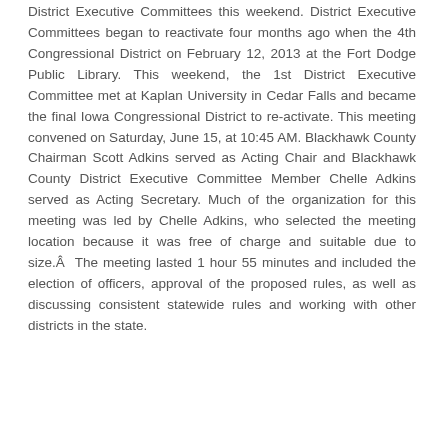District Executive Committees this weekend. District Executive Committees began to reactivate four months ago when the 4th Congressional District on February 12, 2013 at the Fort Dodge Public Library. This weekend, the 1st District Executive Committee met at Kaplan University in Cedar Falls and became the final Iowa Congressional District to re-activate. This meeting convened on Saturday, June 15, at 10:45 AM. Blackhawk County Chairman Scott Adkins served as Acting Chair and Blackhawk County District Executive Committee Member Chelle Adkins served as Acting Secretary. Much of the organization for this meeting was led by Chelle Adkins, who selected the meeting location because it was free of charge and suitable due to size.Â  The meeting lasted 1 hour 55 minutes and included the election of officers, approval of the proposed rules, as well as discussing consistent statewide rules and working with other districts in the state.